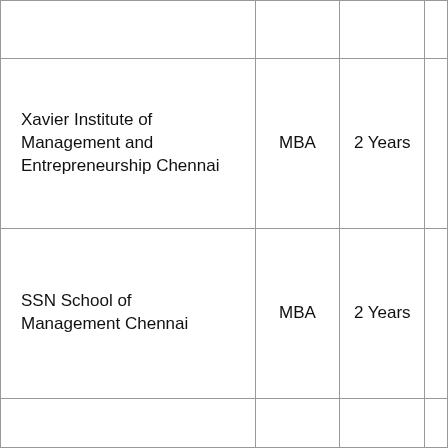| Institution | Program | Duration | Details |
| --- | --- | --- | --- |
|  |  |  |  |
| Xavier Institute of Management and Entrepreneurship Chennai | MBA | 2 Years |  |
| SSN School of Management Chennai | MBA | 2 Years |  |
|  |  |  |  |